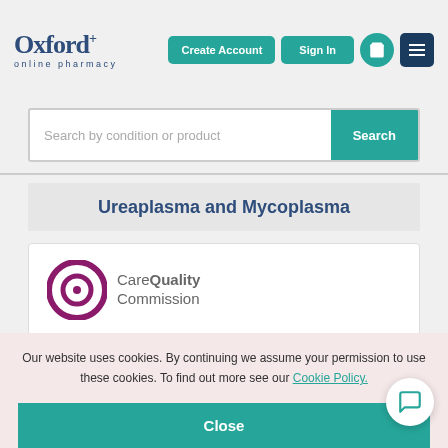[Figure (logo): Oxford Online Pharmacy logo with Oxford+ wordmark and 'online pharmacy' subtitle]
[Figure (screenshot): Create Account button, Sign In button, basket icon, and hamburger menu icon in the header]
Search by condition or product
Ureaplasma and Mycoplasma
[Figure (logo): Care Quality Commission circular logo in purple/magenta]
Frosts (Online) Limited
Our website uses cookies. By continuing we assume your permission to use these cookies. To find out more see our Cookie Policy.
Close